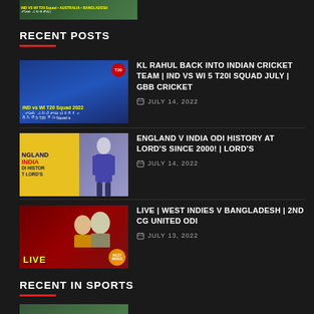[Figure (screenshot): Partial cricket video thumbnail at top of page]
RECENT POSTS
[Figure (screenshot): KL Rahul IND vs WI T20 Squad 2022 thumbnail]
KL RAHUL BACK INTO INDIAN CRICKET TEAM | IND VS WI 5 T20I SQUAD JULY | GBB CRICKET
JULY 14, 2022
[Figure (screenshot): England v India ODI History at Lord's thumbnail]
ENGLAND V INDIA ODI HISTORY AT LORD'S SINCE 2000! | LORD'S
JULY 14, 2022
[Figure (screenshot): Live West Indies v Bangladesh 2nd CG United ODI thumbnail]
LIVE | WEST INDIES V BANGLADESH | 2ND CG UNITED ODI
JULY 13, 2022
RECENT IN SPORTS
[Figure (screenshot): Partial sports thumbnail at bottom of page]